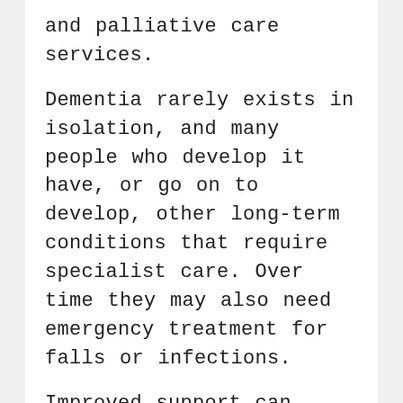and palliative care services.
Dementia rarely exists in isolation, and many people who develop it have, or go on to develop, other long-term conditions that require specialist care. Over time they may also need emergency treatment for falls or infections.
Improved support can benefit everyone, people with dementia, carers and professionals.
Dementia is YOUR business!
If you are a Doctor, Nurse, HCA, Physio, OT, Speech and Language Therapist, Chiropodist, Audiologist, Optometrist, Dentist, Dietician, Pharmacist or indeed